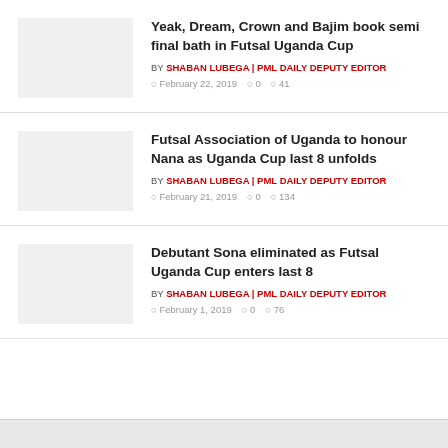Yeak, Dream, Crown and Bajim book semi final bath in Futsal Uganda Cup
BY SHABAN LUBEGA | PML DAILY DEPUTY EDITOR
February 22, 2019  0  41
Futsal Association of Uganda to honour Nana as Uganda Cup last 8 unfolds
BY SHABAN LUBEGA | PML DAILY DEPUTY EDITOR
February 21, 2019  0  134
Debutant Sona eliminated as Futsal Uganda Cup enters last 8
BY SHABAN LUBEGA | PML DAILY DEPUTY EDITOR
February 1, 2019  0  76